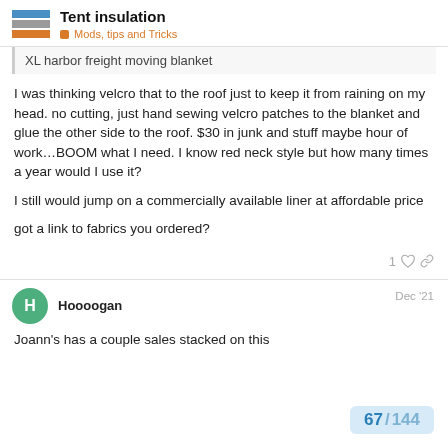Tent insulation — Mods, tips and Tricks
XL harbor freight moving blanket
I was thinking velcro that to the roof just to keep it from raining on my head. no cutting, just hand sewing velcro patches to the blanket and glue the other side to the roof. $30 in junk and stuff maybe hour of work…BOOM what I need. I know red neck style but how many times a year would I use it?

I still would jump on a commercially available liner at affordable price

got a link to fabrics you ordered?
Hoooogan — Dec '21
Joann's has a couple sales stacked on this